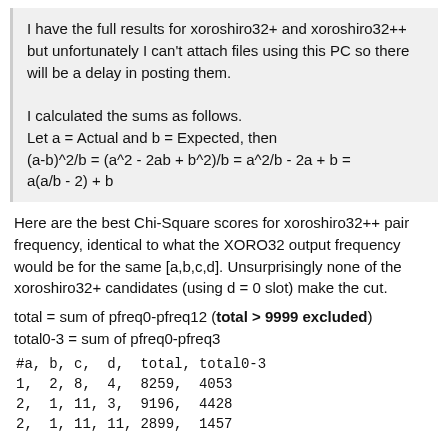I have the full results for xoroshiro32+ and xoroshiro32++ but unfortunately I can't attach files using this PC so there will be a delay in posting them.

I calculated the sums as follows.
Let a = Actual and b = Expected, then
(a-b)^2/b = (a^2 - 2ab + b^2)/b = a^2/b - 2a + b =
a(a/b - 2) + b
Here are the best Chi-Square scores for xoroshiro32++ pair frequency, identical to what the XORO32 output frequency would be for the same [a,b,c,d]. Unsurprisingly none of the xoroshiro32+ candidates (using d = 0 slot) make the cut.
total = sum of pfreq0-pfreq12 (total > 9999 excluded)
total0-3 = sum of pfreq0-pfreq3
| #a, | b, | c, | d, | total, | total0-3 |
| --- | --- | --- | --- | --- | --- |
| 1, | 2, | 8, | 4, | 8259, | 4053 |
| 2, | 1, | 11, | 3, | 9196, | 4428 |
| 2, | 1, | 11, | 11, | 2899, | 1457 |